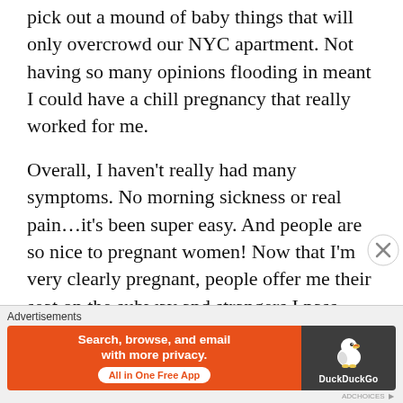pick out a mound of baby things that will only overcrowd our NYC apartment. Not having so many opinions flooding in meant I could have a chill pregnancy that really worked for me.
Overall, I haven't really had many symptoms. No morning sickness or real pain…it's been super easy. And people are so nice to pregnant women! Now that I'm very clearly pregnant, people offer me their seat on the subway and strangers I pass outside congratulate me or tell me I look beautiful. Life is pretty much the same as before I was pregnant except I'm not wearing crop tops, my
Advertisements
[Figure (other): DuckDuckGo advertisement banner: orange left section with text 'Search, browse, and email with more privacy. All in One Free App' and a white pill-shaped button, dark right section with DuckDuckGo duck logo and 'DuckDuckGo' text]